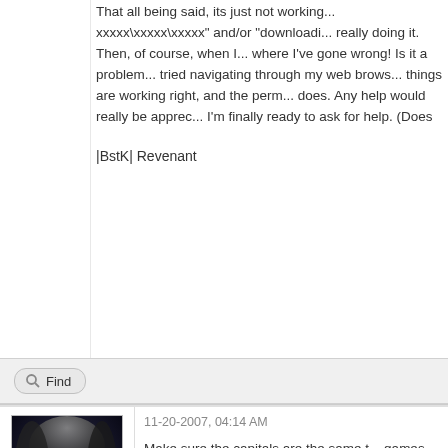That all being said, its just not working... xxxxx\xxxxx\xxxxx" and/or "downloadi... really doing it. Then, of course, when I... where I've gone wrong! Is it a problem... tried navigating through my web brows... things are working right, and the perm... does. Any help would really be apprec... I'm finally ready to ask for help. (Does
|BstK| Revenant
Find
11-20-2007, 04:14 AM
[Figure (photo): Dark fantasy avatar image of a shadowy figure with dramatic lighting]
Drocona
Retired Administrator
Make sure the capitals are the same t... games...
Join the Source Dedicated Server Suppo...
Source Dedicated Server (SRCDS)
Free to join, Live support! (When availab...
http://forums.srcds.com/viewtopic/514...